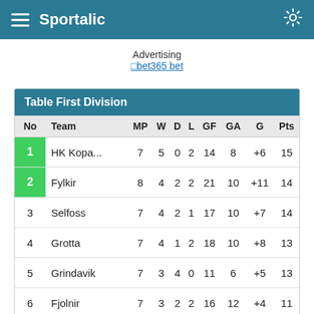Sportalic
Advertising
bet365 bet
| No | Team | MP | W | D | L | GF | GA | G | Pts |
| --- | --- | --- | --- | --- | --- | --- | --- | --- | --- |
| 1 | HK Kopa... | 7 | 5 | 0 | 2 | 14 | 8 | +6 | 15 |
| 2 | Fylkir | 8 | 4 | 2 | 2 | 21 | 10 | +11 | 14 |
| 3 | Selfoss | 7 | 4 | 2 | 1 | 17 | 10 | +7 | 14 |
| 4 | Grotta | 7 | 4 | 1 | 2 | 18 | 10 | +8 | 13 |
| 5 | Grindavik | 7 | 3 | 4 | 0 | 11 | 6 | +5 | 13 |
| 6 | Fjolnir | 7 | 3 | 2 | 2 | 16 | 12 | +4 | 11 |